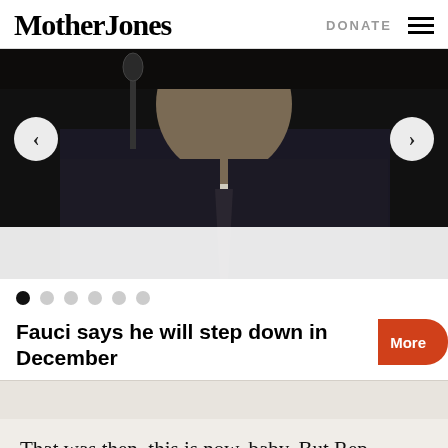Mother Jones | DONATE
[Figure (photo): Photo of an older man (possibly Fauci) in a dark suit at a hearing, with navigation arrows and carousel dots below]
Fauci says he will step down in December
That was then, this is now, baby. But Rep. Barney Frank, who is expected to lead the House Financial